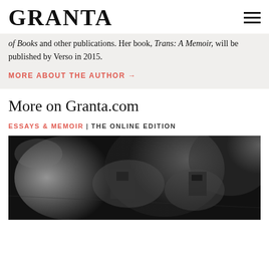GRANTA
...and other publications. Her book, Trans: A Memoir, will be published by Verso in 2015.
MORE ABOUT THE AUTHOR →
More on Granta.com
ESSAYS & MEMOIR | THE ONLINE EDITION
[Figure (photo): Black and white photograph showing an abstract or mechanical subject with smoke-like elements]